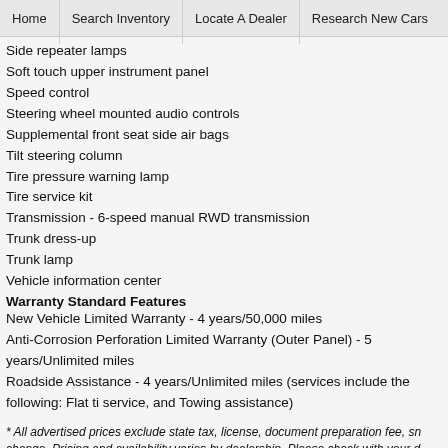Home | Search Inventory | Locate A Dealer | Research New Cars
Side repeater lamps
Soft touch upper instrument panel
Speed control
Steering wheel mounted audio controls
Supplemental front seat side air bags
Tilt steering column
Tire pressure warning lamp
Tire service kit
Transmission - 6-speed manual RWD transmission
Trunk dress-up
Trunk lamp
Vehicle information center
Warranty Standard Features
New Vehicle Limited Warranty - 4 years/50,000 miles
Anti-Corrosion Perforation Limited Warranty (Outer Panel) - 5 years/Unlimited miles
Roadside Assistance - 4 years/Unlimited miles (services include the following: Flat ti service, and Towing assistance)
* All advertised prices exclude state tax, license, document preparation fee, sn change. Pricing and availability varies by dealership. Please check with your d